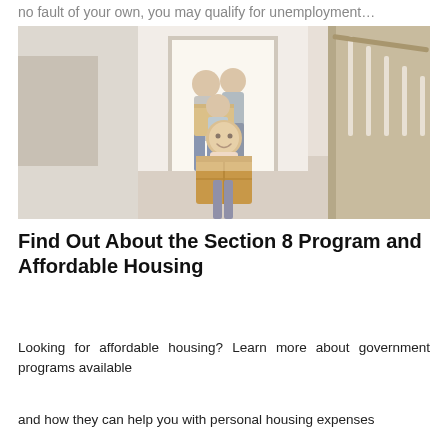no fault of your own, you may qualify for unemployment…
[Figure (photo): A family carrying cardboard moving boxes walking through the front door hallway of a new home. A young girl in the foreground smiles while holding a large box, with two adults and another child behind her.]
Find Out About the Section 8 Program and Affordable Housing
Looking for affordable housing? Learn more about government programs available
and how they can help you with personal housing expenses